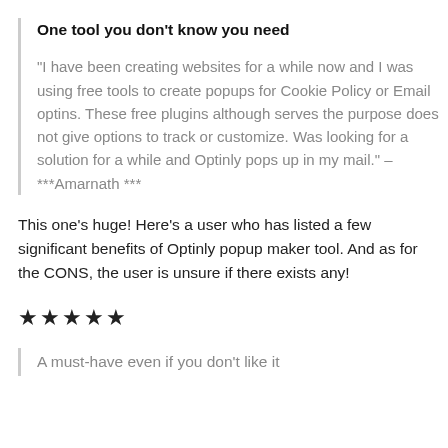One tool you don't know you need
“I have been creating websites for a while now and I was using free tools to create popups for Cookie Policy or Email optins. These free plugins although serves the purpose does not give options to track or customize. Was looking for a solution for a while and Optinly pops up in my mail.” – ***Amarnath ***
This one’s huge! Here’s a user who has listed a few significant benefits of Optinly popup maker tool. And as for the CONS, the user is unsure if there exists any!
★★★★★
A must-have even if you don’t like it